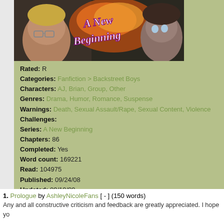[Figure (photo): Banner image for fanfiction titled 'A New Beginning' showing two characters and stylized text]
Rated: R
Categories: Fanfiction > Backstreet Boys
Characters: AJ, Brian, Group, Other
Genres: Drama, Humor, Romance, Suspense
Warnings: Death, Sexual Assault/Rape, Sexual Content, Violence
Challenges:
Series: A New Beginning
Chapters: 86
Completed: Yes
Word count: 169221
Read: 104975
Published: 09/24/08
Updated: 09/19/09
1. Prologue by AshleyNicoleFans [ - ] (150 words)
Any and all constructive criticism and feedback are greatly appreciated. I hope yo
2. Chapter 1 by AshleyNicoleFans [ - ] (245 words)
3. Chapter 2 by AshleyNicoleFans [ - ] (922 words)
Thanks for all the feedback. I'm just proof reading a few more chapters now and w
4. Chapter 3 by AshleyNicoleFans [ - ] (819 words)